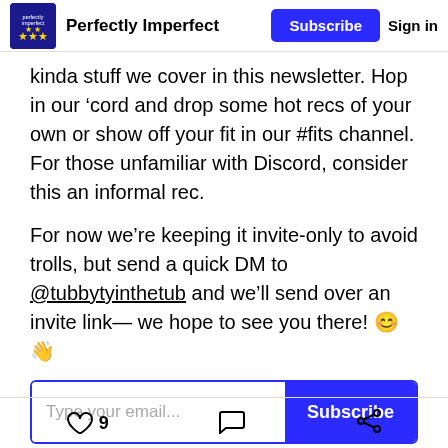Perfectly Imperfect | Subscribe | Sign in
kinda stuff we cover in this newsletter. Hop in our ‘cord and drop some hot recs of your own or show off your fit in our #fits channel. For those unfamiliar with Discord, consider this an informal rec.
For now we’re keeping it invite-only to avoid trolls, but send a quick DM to @tubbytyinthetub and we’ll send over an invite link— we hope to see you there! 😊 👋
[Figure (other): Email subscription form with text input placeholder 'Type your email...' and blue Subscribe button]
Without further ado
9 likes, comment icon, share icon